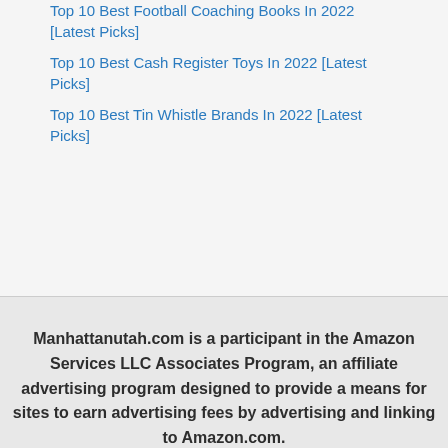Top 10 Best Football Coaching Books In 2022 [Latest Picks]
Top 10 Best Cash Register Toys In 2022 [Latest Picks]
Top 10 Best Tin Whistle Brands In 2022 [Latest Picks]
Manhattanutah.com is a participant in the Amazon Services LLC Associates Program, an affiliate advertising program designed to provide a means for sites to earn advertising fees by advertising and linking to Amazon.com.